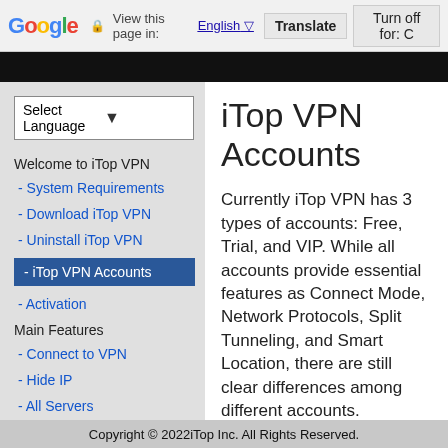Google | View this page in: English [▼] | Translate | Turn off for: C
Select Language ▼
Welcome to iTop VPN
- System Requirements
- Download iTop VPN
- Uninstall iTop VPN
- iTop VPN Accounts
- Activation
Main Features
- Connect to VPN
- Hide IP
- All Servers
iTop VPN Accounts
Currently iTop VPN has 3 types of accounts: Free, Trial, and VIP. While all accounts provide essential features as Connect Mode, Network Protocols, Split Tunneling, and Smart Location, there are still clear differences among different accounts.
Copyright © 2022iTop Inc. All Rights Reserved.